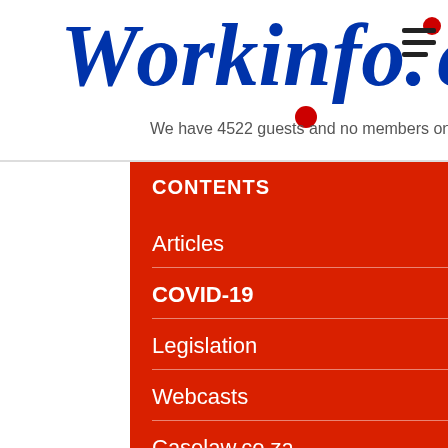[Figure (logo): Workinfo.co website logo in bold italic blue font with red dots]
We have 4522 guests and no members online
CONTENTS
Articles
COVID-19
Legislation
Webcasts
Caselaw.co.za
Focus Areas
Employment Equity